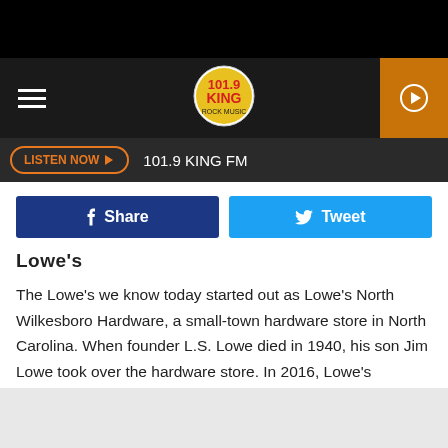[Figure (screenshot): 101.9 KING FM radio station logo circle with yellow and red text]
101.9 KING FM — LISTEN NOW
Share   Tweet
Lowe's
The Lowe's we know today started out as Lowe's North Wilkesboro Hardware, a small-town hardware store in North Carolina. When founder L.S. Lowe died in 1940, his son Jim Lowe took over the hardware store. In 2016, Lowe's expanded its reach when it acquired RONA in Canada.